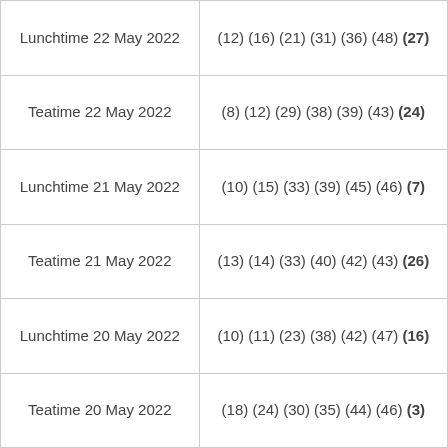| Draw | Numbers |
| --- | --- |
| Lunchtime 22 May 2022 | (12) (16) (21) (31) (36) (48) (27) |
| Teatime 22 May 2022 | (8) (12) (29) (38) (39) (43) (24) |
| Lunchtime 21 May 2022 | (10) (15) (33) (39) (45) (46) (7) |
| Teatime 21 May 2022 | (13) (14) (33) (40) (42) (43) (26) |
| Lunchtime 20 May 2022 | (10) (11) (23) (38) (42) (47) (16) |
| Teatime 20 May 2022 | (18) (24) (30) (35) (44) (46) (3) |